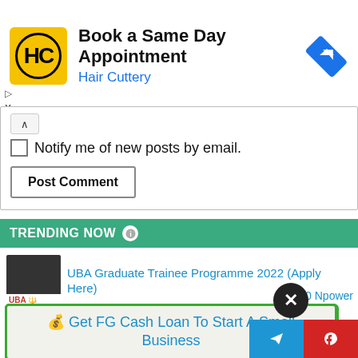[Figure (screenshot): Advertisement banner for Hair Cuttery showing logo, 'Book a Same Day Appointment' headline, and navigation icon]
Notify me of new posts by email.
Post Comment
TRENDING NOW
UBA Graduate Trainee Programme 2022 (Apply Here)
💰 Get FG Cash Loan To Start A Small Business
💬 Follow Us On Telegram Group